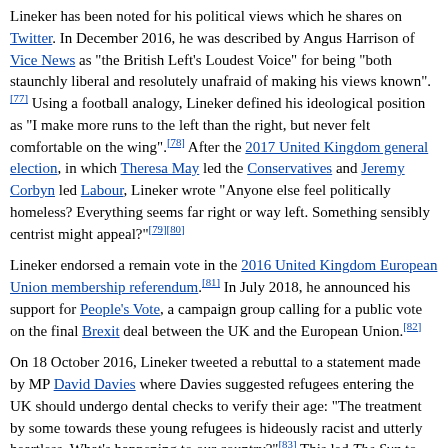Lineker has been noted for his political views which he shares on Twitter. In December 2016, he was described by Angus Harrison of Vice News as "the British Left's Loudest Voice" for being "both staunchly liberal and resolutely unafraid of making his views known".[77] Using a football analogy, Lineker defined his ideological position as "I make more runs to the left than the right, but never felt comfortable on the wing".[78] After the 2017 United Kingdom general election, in which Theresa May led the Conservatives and Jeremy Corbyn led Labour, Lineker wrote "Anyone else feel politically homeless? Everything seems far right or way left. Something sensibly centrist might appeal?"[79][80]
Lineker endorsed a remain vote in the 2016 United Kingdom European Union membership referendum.[81] In July 2018, he announced his support for People's Vote, a campaign group calling for a public vote on the final Brexit deal between the UK and the European Union.[82]
On 18 October 2016, Lineker tweeted a rebuttal to a statement made by MP David Davies where Davies suggested refugees entering the UK should undergo dental checks to verify their age: "The treatment by some towards these young refugees is hideously racist and utterly heartless. What's happening to our country?"[83] This led The Sun to call for Lineker's sacking from Match of the